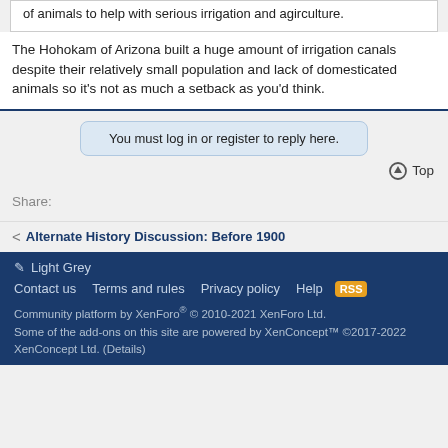of animals to help with serious irrigation and agirculture.
The Hohokam of Arizona built a huge amount of irrigation canals despite their relatively small population and lack of domesticated animals so it's not as much a setback as you'd think.
You must log in or register to reply here.
Top
Share:
Alternate History Discussion: Before 1900
Light Grey
Contact us  Terms and rules  Privacy policy  Help
Community platform by XenForo® © 2010-2021 XenForo Ltd.
Some of the add-ons on this site are powered by XenConcept™ ©2017-2022 XenConcept Ltd. (Details)